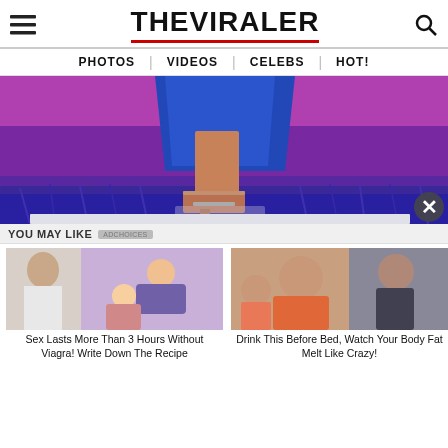THE VIRALER
PHOTOS | VIDEOS | CELEBS | HOT!
[Figure (photo): Close-up of high-heeled shoe with blue sequin dress and blue fur/feather trim on purple background]
YOU MAY LIKE
[Figure (photo): Left ad card: doctor photo on left, cartoon illustration of couple on right]
Sex Lasts More Than 3 Hours Without Viagra! Write Down The Recipe
[Figure (photo): Right ad card: two before/after photos of women]
Drink This Before Bed, Watch Your Body Fat Melt Like Crazy!